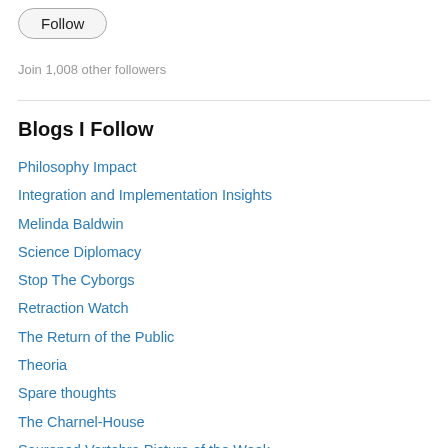Follow
Join 1,008 other followers
Blogs I Follow
Philosophy Impact
Integration and Implementation Insights
Melinda Baldwin
Science Diplomacy
Stop The Cyborgs
Retraction Watch
The Return of the Public
Theoria
Spare thoughts
The Charnel-House
Sauropod Vertebra Picture of the Week
C.W. Schadt | ORNL-UTK Microbial Ecology Lab
patter